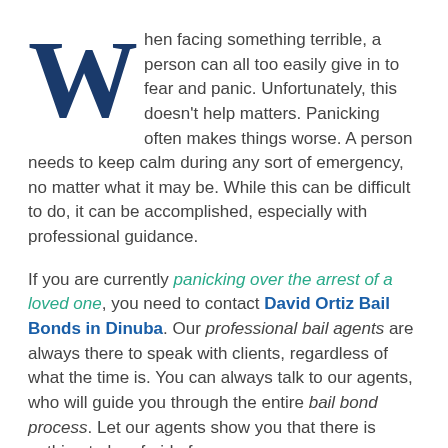When facing something terrible, a person can all too easily give in to fear and panic. Unfortunately, this doesn't help matters. Panicking often makes things worse. A person needs to keep calm during any sort of emergency, no matter what it may be. While this can be difficult to do, it can be accomplished, especially with professional guidance.
If you are currently panicking over the arrest of a loved one, you need to contact David Ortiz Bail Bonds in Dinuba. Our professional bail agents are always there to speak with clients, regardless of what the time is. You can always talk to our agents, who will guide you through the entire bail bond process. Let our agents show you that there is nothing to be afraid of.
The minute you talk to one of our agents, they begin working for you. They will...